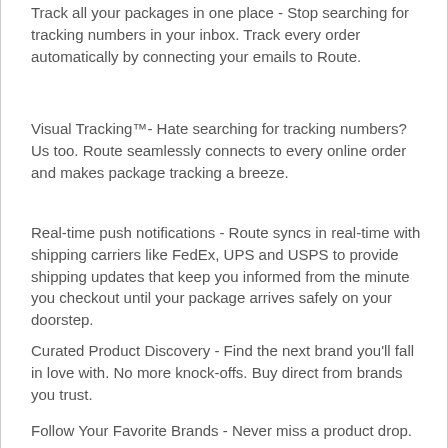Track all your packages in one place - Stop searching for tracking numbers in your inbox. Track every order automatically by connecting your emails to Route.
Visual Tracking™- Hate searching for tracking numbers? Us too. Route seamlessly connects to every online order and makes package tracking a breeze.
Real-time push notifications - Route syncs in real-time with shipping carriers like FedEx, UPS and USPS to provide shipping updates that keep you informed from the minute you checkout until your package arrives safely on your doorstep.
Curated Product Discovery - Find the next brand you'll fall in love with. No more knock-offs. Buy direct from brands you trust.
Follow Your Favorite Brands - Never miss a product drop.